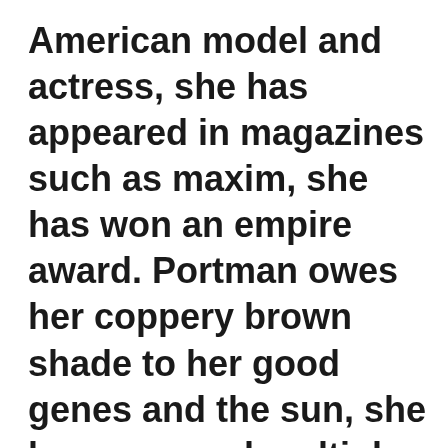American model and actress, she has appeared in magazines such as maxim, she has won an empire award. Portman owes her coppery brown shade to her good genes and the sun, she has garnered multiple nominations for the academy award and golden globe award, the face you have at